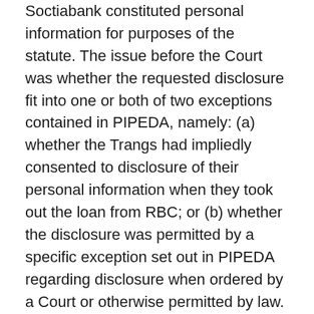Soctiabank constituted personal information for purposes of the statute. The issue before the Court was whether the requested disclosure fit into one or both of two exceptions contained in PIPEDA, namely: (a) whether the Trangs had impliedly consented to disclosure of their personal information when they took out the loan from RBC; or (b) whether the disclosure was permitted by a specific exception set out in PIPEDA regarding disclosure when ordered by a Court or otherwise permitted by law.
It should be noted that the loan documentation executed by the Trangs in connection with both the RBC loan and the Scotiabank mortgage did not contain a consent to disclosure of personal information. RBC was forced to argue that the Trangs had given implied consent, or that the disclosure was required by a court order, or otherwise permitted by